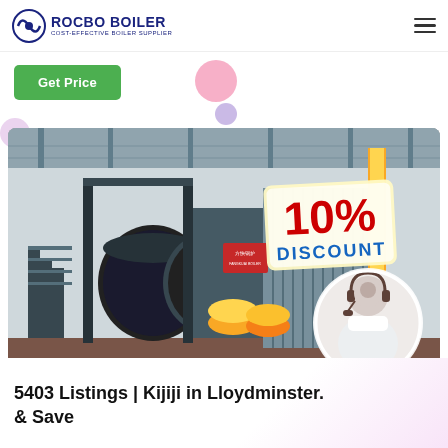ROCBO BOILER — COST-EFFECTIVE BOILER SUPPLIER
Get Price
[Figure (photo): Industrial boiler equipment in a factory setting with a 10% DISCOUNT badge overlay and a customer service representative in a circular inset photo]
5403 Listings | Kijiji in Lloydminster. & Save